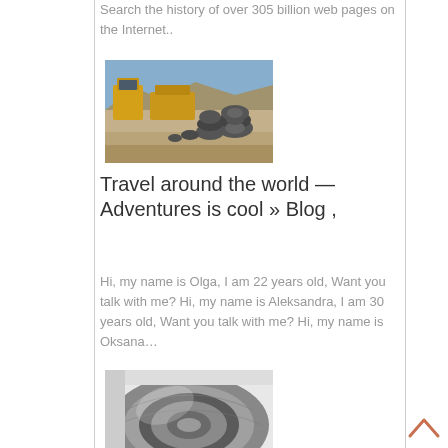Search the history of over 305 billion web pages on the Internet..
[Figure (photo): Outdoor photo showing construction vehicles and tire stacks in a desert/arid landscape with mountains in background and blue sky]
Travel around the world — Adventures is cool » Blog ,
Hi, my name is Olga, I am 22 years old, Want you talk with me? Hi, my name is Aleksandra, I am 30 years old, Want you talk with me? Hi, my name is Oksana…
[Figure (photo): Close-up photo of what appears to be a worn tire or circular industrial object with metallic/gray tones]